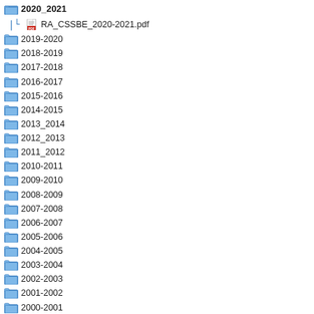[Figure (screenshot): File explorer tree view showing folder structure with years from 1999-2000 to 2020-2021 and a PDF file RA_CSSBE_2020-2021.pdf nested under the top folder.]